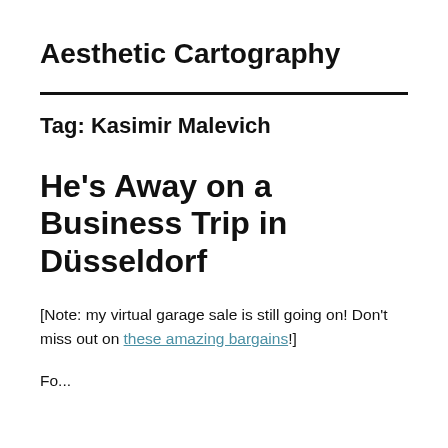Aesthetic Cartography
Tag: Kasimir Malevich
He’s Away on a Business Trip in Düsseldorf
[Note: my virtual garage sale is still going on! Don’t miss out on these amazing bargains!]
Fo...